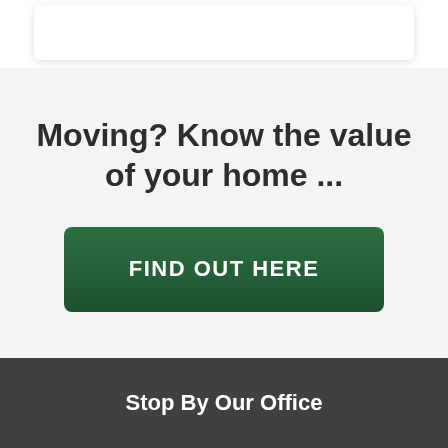[Figure (screenshot): White card/panel at the top of the page]
Moving? Know the value of your home ...
[Figure (other): Green call-to-action button labeled FIND OUT HERE]
Stop By Our Office